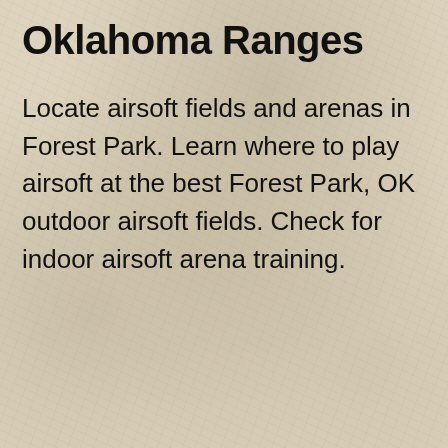Oklahoma Ranges
Locate airsoft fields and arenas in Forest Park. Learn where to play airsoft at the best Forest Park, OK outdoor airsoft fields. Check for indoor airsoft arena training.